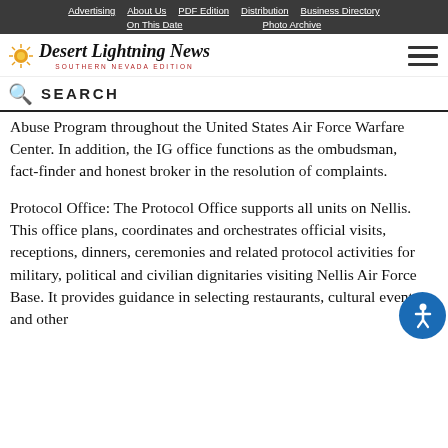Advertising | About Us | PDF Edition | Distribution | Business Directory | On This Date | Photo Archive
[Figure (logo): Desert Lightning News - Southern Nevada Edition logo with sun graphic]
SEARCH
Abuse Program throughout the United States Air Force Warfare Center. In addition, the IG office functions as the ombudsman, fact-finder and honest broker in the resolution of complaints.
Protocol Office: The Protocol Office supports all units on Nellis. This office plans, coordinates and orchestrates official visits, receptions, dinners, ceremonies and related protocol activities for military, political and civilian dignitaries visiting Nellis Air Force Base. It provides guidance in selecting restaurants, cultural events and other